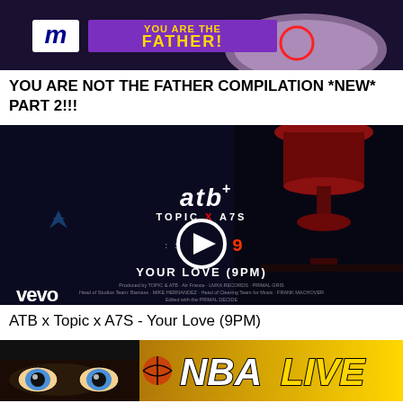[Figure (screenshot): Video thumbnail showing Maury show with 'YOU ARE THE FATHER!' banner in purple with gold text, and a circular red highlight on the right]
YOU ARE NOT THE FATHER COMPILATION *NEW* PART 2!!!
[Figure (screenshot): Music video thumbnail for ATB x Topic x A7S - Your Love (9PM) on Vevo. Dark room with red lamp, ATB+ logo, play button, and Vevo branding.]
ATB x Topic x A7S - Your Love (9PM)
[Figure (screenshot): Video thumbnail showing a person's eyes wide open on left side and NBA LIVE logo on right side with gold/yellow background]